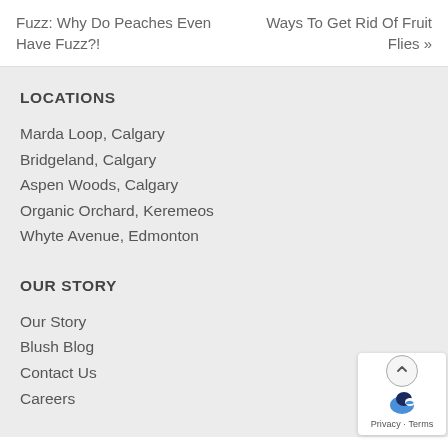Fuzz: Why Do Peaches Even Have Fuzz?!
Ways To Get Rid Of Fruit Flies »
LOCATIONS
Marda Loop, Calgary
Bridgeland, Calgary
Aspen Woods, Calgary
Organic Orchard, Keremeos
Whyte Avenue, Edmonton
OUR STORY
Our Story
Blush Blog
Contact Us
Careers